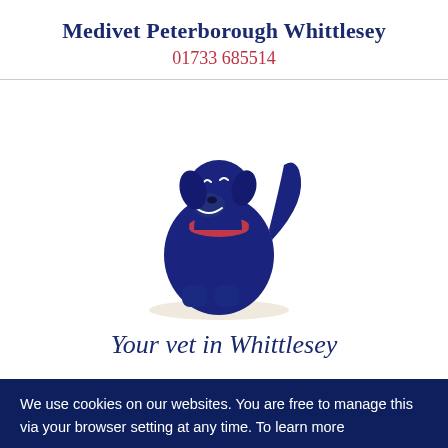Medivet Peterborough Whittlesey
01733 685514
[Figure (illustration): Illustration of a sitting dark navy blue Labrador dog with a red collar, facing slightly left, with a subtle smile, on a light background.]
Your vet in Whittlesey
We use cookies on our websites. You are free to manage this via your browser setting at any time. To learn more